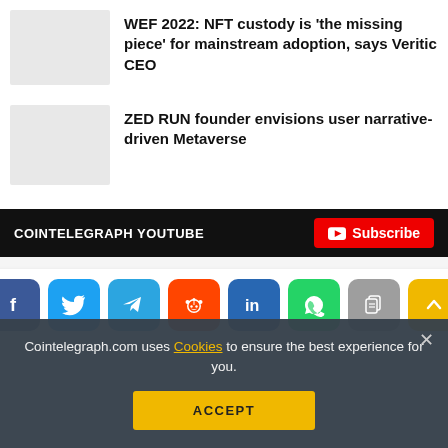[Figure (photo): Thumbnail image placeholder for NFT custody article]
WEF 2022: NFT custody is 'the missing piece' for mainstream adoption, says Veritic CEO
[Figure (photo): Thumbnail image placeholder for ZED RUN article]
ZED RUN founder envisions user narrative-driven Metaverse
COINTELEGRAPH YOUTUBE
Subscribe
[Figure (infographic): Social media sharing icons: Facebook, Twitter, Telegram, Reddit, LinkedIn, WhatsApp, Copy, Scroll up]
Cointelegraph.com uses Cookies to ensure the best experience for you.
ACCEPT